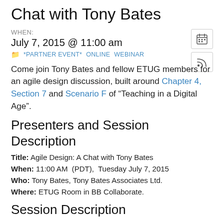Chat with Tony Bates
WHEN:
July 7, 2015 @ 11:00 am
*PARTNER EVENT*   ONLINE   WEBINAR
Come join Tony Bates and fellow ETUG members for an agile design discussion, built around Chapter 4, Section 7 and Scenario F of “Teaching in a Digital Age”.
Presenters and Session Description
Title: Agile Design: A Chat with Tony Bates
When: 11:00 AM  (PDT),  Tuesday July 7, 2015
Who: Tony Bates, Tony Bates Associates Ltd.
Where: ETUG Room in BB Collaborate.
Session Description